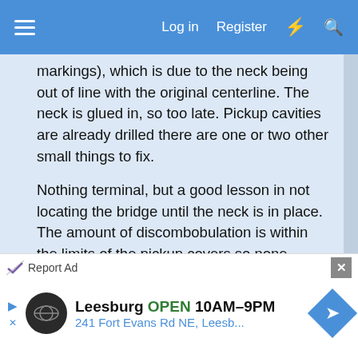Log in  Register
markings), which is due to the neck being out of line with the original centerline. The neck is glued in, so too late. Pickup cavities are already drilled there are one or two other small things to fix.
Nothing terminal, but a good lesson in not locating the bridge until the neck is in place. The amount of discombobulation is within the limits of the pickup covers so none should be visible in the final guitar, but it's a little disappointing.
Guitar weight without hardware is 5 pounds 5 oz. I think that means this guitar will end up somewhere around 7 1/2 pounds and it should be looser sounding and not so tight in the mids and bottom end.
Report Ad
Leesburg  OPEN  10AM–9PM  241 Fort Evans Rd NE, Leesb...